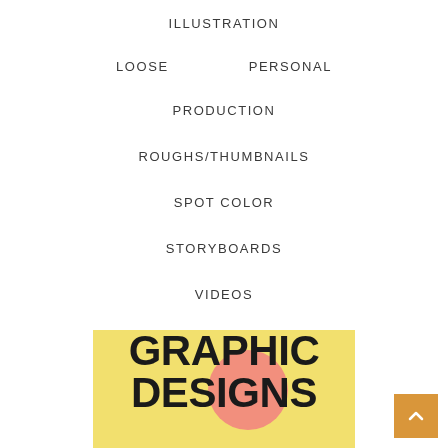ILLUSTRATION
LOOSE
PERSONAL
PRODUCTION
ROUGHS/THUMBNAILS
SPOT COLOR
STORYBOARDS
VIDEOS
WHITEBOARD
[Figure (illustration): Graphic Designs banner image with bold black text on yellow background with pink circular accent, and an orange scroll-to-top button in the bottom right corner]